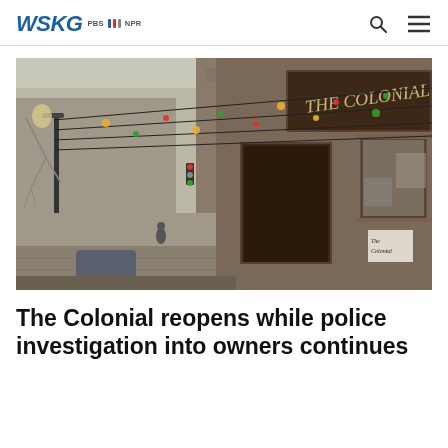WSKG PBS NPR
[Figure (photo): Street-level view of The Colonial bar/restaurant on an urban pedestrian street with string lights overhead. The storefront sign reads 'THE COLONIAL'. A lamp post is visible on the left side of the empty sidewalk. Winter scene with bare trees in the background.]
The Colonial reopens while police investigation into owners continues